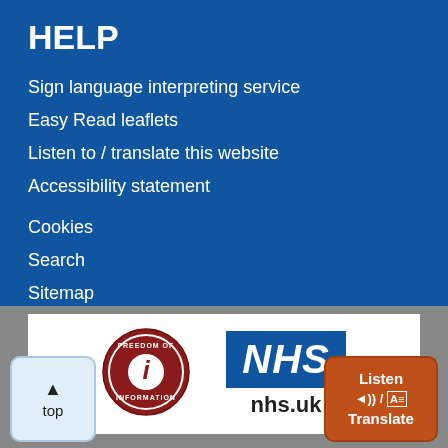HELP
Sign language interpreting service
Easy Read leaflets
Listen to / translate this website
Accessibility statement
Cookies
Search
Sitemap
Terms of use
[Figure (logo): Freedom of Information circular logo with letter i in centre]
[Figure (logo): NHS logo blue badge with nhs.uk text below]